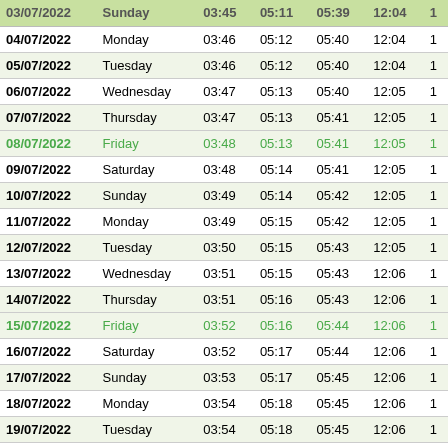| Date | Day | Col3 | Col4 | Col5 | Col6 | Col7 |
| --- | --- | --- | --- | --- | --- | --- |
| 03/07/2022 | Sunday | 03:45 | 05:11 | 05:39 | 12:04 | 1 |
| 04/07/2022 | Monday | 03:46 | 05:12 | 05:40 | 12:04 | 1 |
| 05/07/2022 | Tuesday | 03:46 | 05:12 | 05:40 | 12:04 | 1 |
| 06/07/2022 | Wednesday | 03:47 | 05:13 | 05:40 | 12:05 | 1 |
| 07/07/2022 | Thursday | 03:47 | 05:13 | 05:41 | 12:05 | 1 |
| 08/07/2022 | Friday | 03:48 | 05:13 | 05:41 | 12:05 | 1 |
| 09/07/2022 | Saturday | 03:48 | 05:14 | 05:41 | 12:05 | 1 |
| 10/07/2022 | Sunday | 03:49 | 05:14 | 05:42 | 12:05 | 1 |
| 11/07/2022 | Monday | 03:49 | 05:15 | 05:42 | 12:05 | 1 |
| 12/07/2022 | Tuesday | 03:50 | 05:15 | 05:43 | 12:05 | 1 |
| 13/07/2022 | Wednesday | 03:51 | 05:15 | 05:43 | 12:06 | 1 |
| 14/07/2022 | Thursday | 03:51 | 05:16 | 05:43 | 12:06 | 1 |
| 15/07/2022 | Friday | 03:52 | 05:16 | 05:44 | 12:06 | 1 |
| 16/07/2022 | Saturday | 03:52 | 05:17 | 05:44 | 12:06 | 1 |
| 17/07/2022 | Sunday | 03:53 | 05:17 | 05:45 | 12:06 | 1 |
| 18/07/2022 | Monday | 03:54 | 05:18 | 05:45 | 12:06 | 1 |
| 19/07/2022 | Tuesday | 03:54 | 05:18 | 05:45 | 12:06 | 1 |
| 20/07/2022 | Wednesday | 03:55 | 05:19 | 05:46 | 12:06 | 1 |